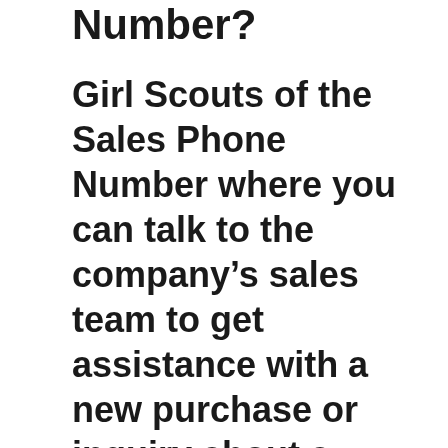Number?
Girl Scouts of the Sales Phone Number where you can talk to the company's sales team to get assistance with a new purchase or inquiry about a service or a product is 800-478-7248